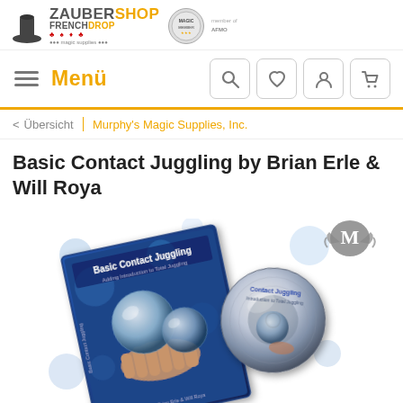[Figure (logo): ZauberShop FrenchDrop logo with magician icon and member badge]
Menü
< Übersicht | Murphy's Magic Supplies, Inc.
Basic Contact Juggling by Brian Erle & Will Roya
[Figure (photo): DVD case and disc for Basic Contact Juggling by Brian Erle & Will Roya, showing contact juggling balls on a blue bokeh background]